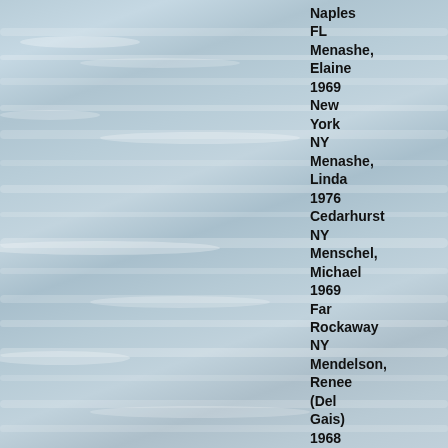[Figure (photo): Aerial or close-up photograph of ocean waves with a soft blue-grey color palette, showing multiple wave crests and whitecaps against the water surface.]
Naples FL
Menashe, Elaine 1969 New York NY
Menashe, Linda 1976 Cedarhurst NY
Menschel, Michael 1969 Far Rockaway NY
Mendelson, Renee (Del Gais) 1968 Valley Stream NY
Mendelsohn, Marcia 1955